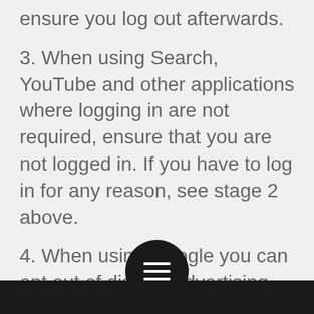ensure you log out afterwards.
3. When using Search, YouTube and other applications where logging in are not required, ensure that you are not logged in. If you have to log in for any reason, see stage 2 above.
4. When using Google you can opt out of display advertising – go to the settings menu and within advertising you can choose to ‘opt out’.
5. When using Google+ ensure you treat this with care, like other social networks are mindful of what you [share/post] with Google+